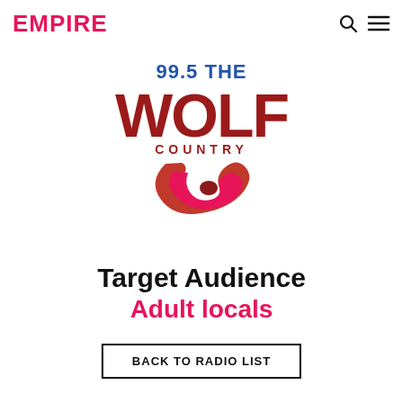EMPIRE
[Figure (logo): 99.5 The Wolf Country radio station logo — red and dark red lettering with decorative wolf tail curl, blue '99.5 THE' text above]
Target Audience
Adult locals
BACK TO RADIO LIST